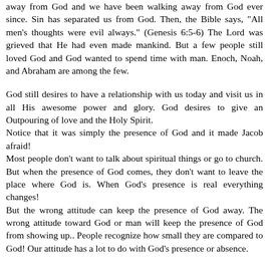away from God and we have been walking away from God ever since. Sin has separated us from God. Then, the Bible says, "All men's thoughts were evil always." (Genesis 6:5-6) The Lord was grieved that He had even made mankind. But a few people still loved God and God wanted to spend time with man. Enoch, Noah, and Abraham are among the few.
God still desires to have a relationship with us today and visit us in all His awesome power and glory. God desires to give an Outpouring of love and the Holy Spirit.
Notice that it was simply the presence of God and it made Jacob afraid!
Most people don't want to talk about spiritual things or go to church. But when the presence of God comes, they don't want to leave the place where God is. When God's presence is real everything changes!
But the wrong attitude can keep the presence of God away. The wrong attitude toward God or man will keep the presence of God from showing up.. People recognize how small they are compared to God! Our attitude has a lot to do with God's presence or absence.